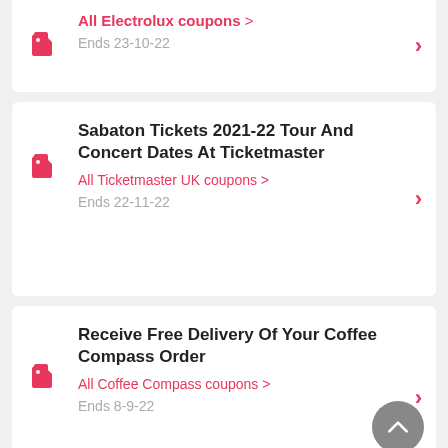All Electrolux coupons > Ends 23-10-22
Sabaton Tickets 2021-22 Tour And Concert Dates At Ticketmaster — All Ticketmaster UK coupons > — Ends 22-11-22
Receive Free Delivery Of Your Coffee Compass Order — All Coffee Compass coupons > — Ends 8-9-22